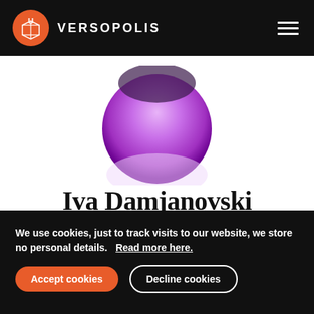VERSOPOLIS
[Figure (illustration): Purple gradient circle portrait placeholder for author Iva Damjanovski]
Iva Damjanovski
- North Macedonia -
We use cookies, just to track visits to our website, we store no personal details.   Read more here.